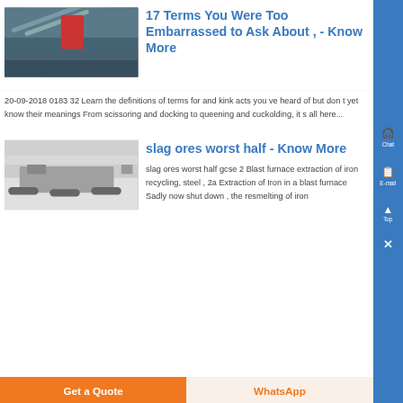[Figure (photo): Industrial mining equipment / conveyor machinery at a waterside site]
17 Terms You Were Too Embarrassed to Ask About , - Know More
20-09-2018 0183 32 Learn the definitions of terms for and kink acts you ve heard of but don t yet know their meanings From scissoring and docking to queening and cuckolding, it s all here...
[Figure (photo): Mobile industrial machinery / crushing equipment in a paved outdoor facility]
slag ores worst half - Know More
slag ores worst half gcse 2 Blast furnace extraction of iron recycling, steel , 2a Extraction of Iron in a blast furnace Sadly now shut down , the resmelting of iron
Get a Quote
WhatsApp